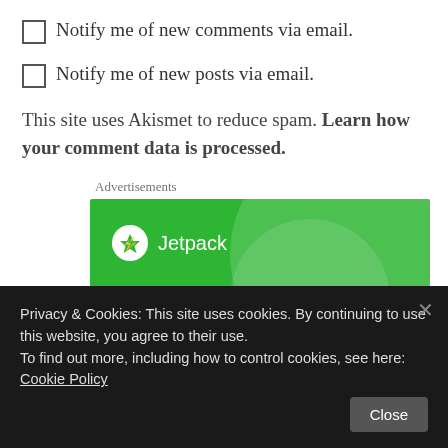Notify me of new comments via email.
Notify me of new posts via email.
This site uses Akismet to reduce spam. Learn how your comment data is processed.
Advertisements
[Figure (illustration): Jetpack advertisement banner on green background with tagline 'We guard your WordPress site.']
Privacy & Cookies: This site uses cookies. By continuing to use this website, you agree to their use.
To find out more, including how to control cookies, see here: Cookie Policy